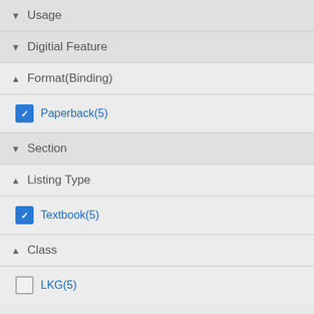▼ Usage
▼ Digitial Feature
▲ Format(Binding)
☑ Paperback(5)
▼ Section
▲ Listing Type
☑ Textbook(5)
▲ Class
☐ LKG(5)